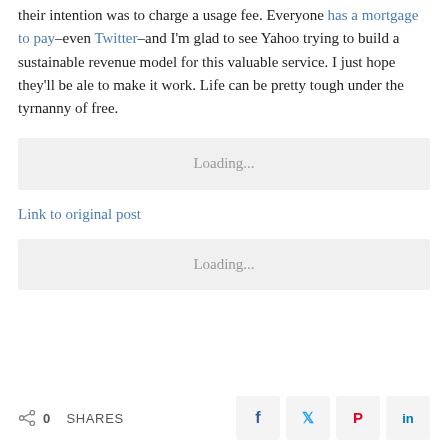their intention was to charge a usage fee. Everyone has a mortgage to pay–even Twitter–and I'm glad to see Yahoo trying to build a sustainable revenue model for this valuable service. I just hope they'll be ale to make it work. Life can be pretty tough under the tyrnanny of free.
[Figure (other): Loading... placeholder bar]
Link to original post
[Figure (other): Loading... placeholder bar]
0 SHARES
[Figure (other): Social sharing buttons: Facebook, Twitter, Pinterest, LinkedIn]